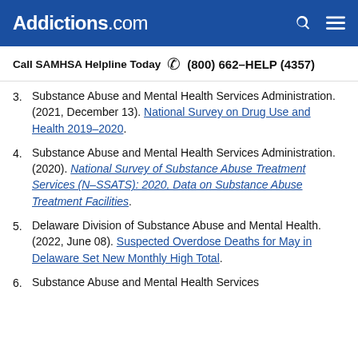Addictions.com
Call SAMHSA Helpline Today (800) 662-HELP (4357)
3. Substance Abuse and Mental Health Services Administration. (2021, December 13). National Survey on Drug Use and Health 2019-2020.
4. Substance Abuse and Mental Health Services Administration. (2020). National Survey of Substance Abuse Treatment Services (N-SSATS): 2020, Data on Substance Abuse Treatment Facilities.
5. Delaware Division of Substance Abuse and Mental Health. (2022, June 08). Suspected Overdose Deaths for May in Delaware Set New Monthly High Total.
6. Substance Abuse and Mental Health Services